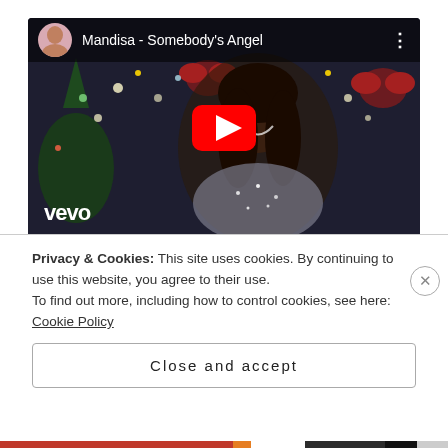[Figure (screenshot): YouTube video thumbnail for 'Mandisa - Somebody's Angel' on Vevo. Shows a woman in a sequined dress laughing, with Christmas decorations in the background. A red YouTube play button is centered on the image. The Vevo logo appears in the bottom-left.]
P.S. I would highly recommend the movie that Mandisa's song is from, called Christmas Angel. It's
Privacy & Cookies: This site uses cookies. By continuing to use this website, you agree to their use.
To find out more, including how to control cookies, see here:
Cookie Policy
Close and accept